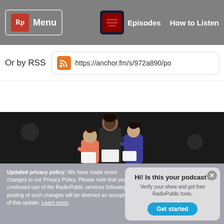[Figure (screenshot): RadioPublic website navigation bar with Rp logo, Menu button, podcast icon, Episodes and How to Listen links]
Or by RSS
https://anchor.fm/s/972a890/po
[Figure (illustration): Three people looking at documents illustration on dark background]
Updated privacy policy: We have made some changes to our Privacy Policy. Please note that your continued use of the RadioPublic services following the posting of such changes will be deemed an acceptance of this update. Learn more.
Hi! Is this your podcast? Verify your show and get free RadioPublic tools.
Get started